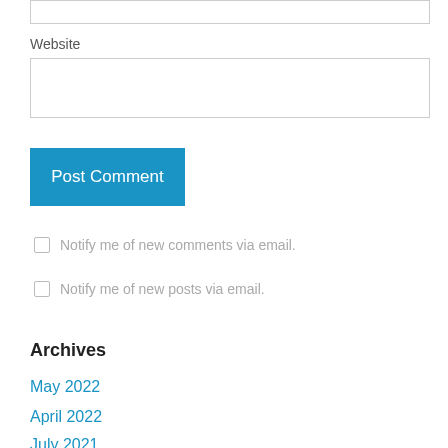Website
Post Comment
Notify me of new comments via email.
Notify me of new posts via email.
Archives
May 2022
April 2022
July 2021